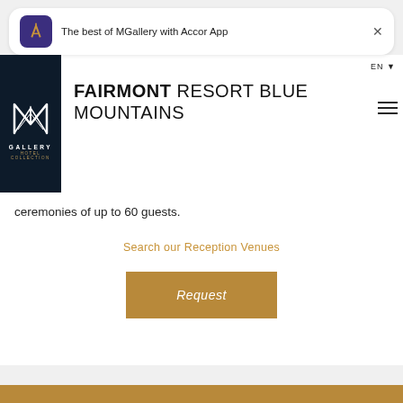[Figure (screenshot): Accor App notification banner showing MGallery logo and text 'The best of MGallery with Accor App' with a close X button]
FAIRMONT RESORT BLUE MOUNTAINS
ceremonies of up to 60 guests.
Search our Reception Venues
Request